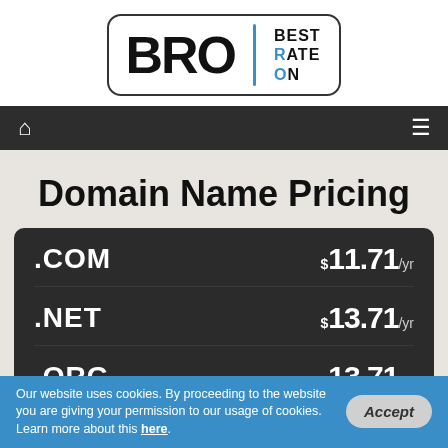[Figure (logo): BRO logo with 'BEST RATE ON' text beside it in a rounded rectangle border]
[Figure (screenshot): Dark navigation bar with home icon on left and hamburger menu on right]
Domain Name Pricing
| Extension | Price |
| --- | --- |
| .COM | $11.71/yr |
| .NET | $13.71/yr |
| .ORG | $13.71/yr |
Our website uses cookies. By proceeding to the website you are giving your permission to our usage of cookies. Learn more about this here.